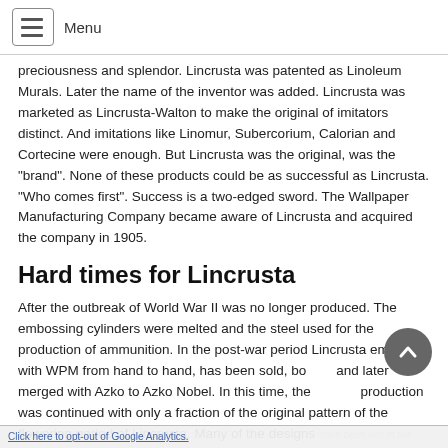Menu
preciousness and splendor. Lincrusta was patented as Linoleum Murals. Later the name of the inventor was added. Lincrusta was marketed as Lincrusta-Walton to make the original of imitators distinct. And imitations like Linomur, Subercorium, Calorian and Cortecine were enough. But Lincrusta was the original, was the "brand". None of these products could be as successful as Lincrusta. "Who comes first". Success is a two-edged sword. The Wallpaper Manufacturing Company became aware of Lincrusta and acquired the company in 1905.
Hard times for Lincrusta
After the outbreak of World War II was no longer produced. The embossing cylinders were melted and the steel used for the production of ammunition. In the post-war period Lincrusta emigrated with WPM from hand to hand, has been sold, bought and later merged with Azko to Azko Nobel. In this time, the production was continued with only a fraction of the original pattern of the flowering period of Lincrusta. Many of the designs have been lost in the turmoil of takeovers and sales. Often they
Click here to opt-out of Google Analytics.